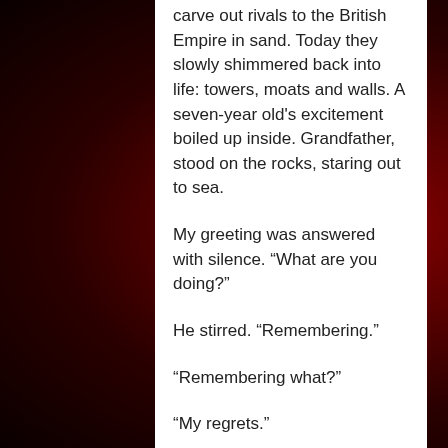carve out rivals to the British Empire in sand. Today they slowly shimmered back into life: towers, moats and walls. A seven-year old's excitement boiled up inside. Grandfather, stood on the rocks, staring out to sea.
My greeting was answered with silence. “What are you doing?”
He stirred. “Remembering.”
“Remembering what?”
“My regrets.”
During dinner I notice that Grandfather had a photo of the beach on his dresser. Inhabiting